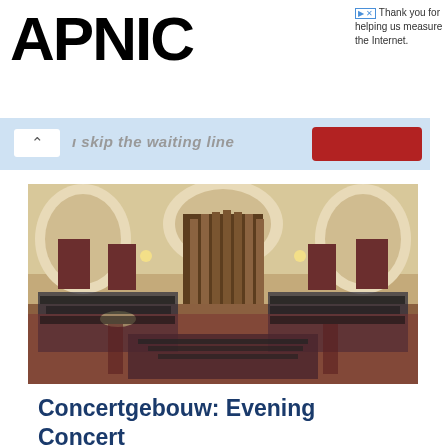APNIC
Thank you for helping us measure the Internet.
[Figure (other): Skip the waiting line banner with red button and chevron up arrow]
[Figure (photo): Interior of the Concertgebouw concert hall showing a large organ, ornate arched ceiling, choir on tiered risers on both sides, and orchestra in the foreground]
Concertgebouw: Evening Concert